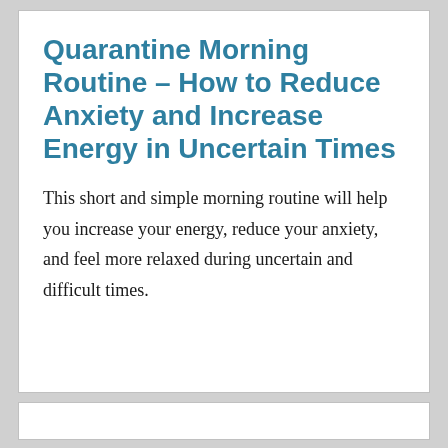Quarantine Morning Routine – How to Reduce Anxiety and Increase Energy in Uncertain Times
This short and simple morning routine will help you increase your energy, reduce your anxiety, and feel more relaxed during uncertain and difficult times.